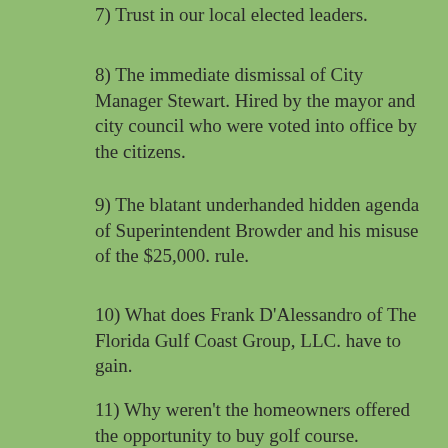7) Trust in our local elected leaders.
8) The immediate dismissal of City Manager Stewart. Hired by the mayor and city council who were voted into office by the citizens.
9) The blatant underhanded hidden agenda of Superintendent Browder and his misuse of the $25,000. rule.
10) What does Frank D'Alessandro of The Florida Gulf Coast Group, LLC. have to gain.
11) Why weren't the homeowners offered the opportunity to buy golf course.
Please note this is only a small representation of their thoughts. I'm sure you will receive many more emails, calls & letters. Also understand that the